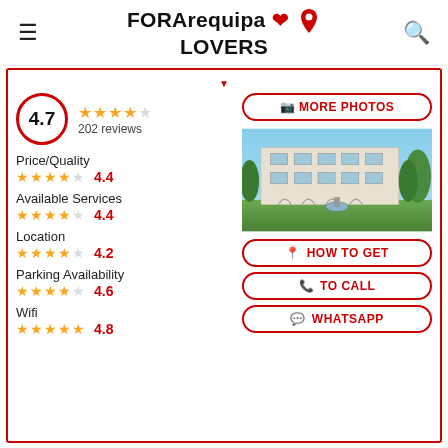FOR Arequipa LOVERS
4.7 | 202 reviews
Price/Quality 4.4
Available Services 4.4
Location 4.2
Parking Availability 4.6
Wifi 4.8
[Figure (photo): Hotel exterior with fountain and garden, white multi-story building]
MORE PHOTOS
HOW TO GET
TO CALL
WHATSAPP